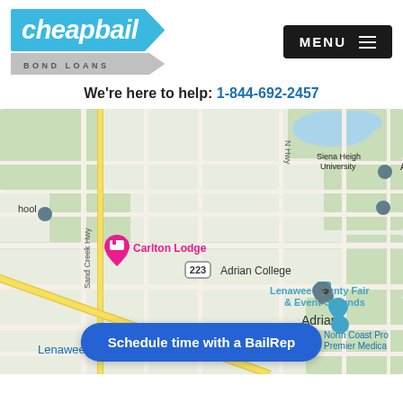[Figure (logo): Cheapbail Bond Loans logo — blue chevron badge with white italic text 'cheapbail' and grey chevron with 'BOND LOANS' below]
MENU ☰
We're here to help: 1-844-692-2457
[Figure (map): Google Maps view of Adrian, Michigan area showing Carlton Lodge pin, Adrian College, Adrian High School, Siena Heights University, Lenawee County Fair & Event Grounds, Gage Cannabis, North Coast Pro Premier Medical, road network including N Main St, Sand Creek Hwy, Hwy 223, Route 34]
Schedule time with a BailRep